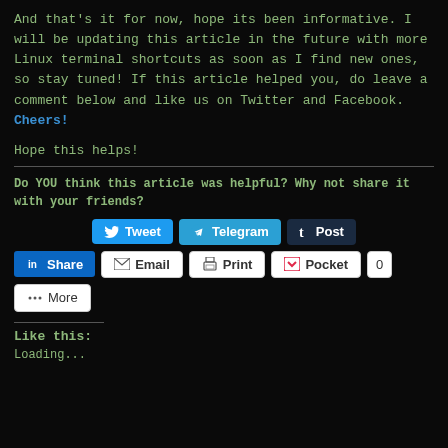And that's it for now, hope its been informative. I will be updating this article in the future with more Linux terminal shortcuts as soon as I find new ones, so stay tuned! If this article helped you, do leave a comment below and like us on Twitter and Facebook. Cheers!
Hope this helps!
Do YOU think this article was helpful? Why not share it with your friends?
[Figure (screenshot): Social sharing buttons: Tweet (Twitter), Telegram, Post (Tumblr), Share (LinkedIn), Email, Print, Pocket with count 0, More]
Like this:
Loading...